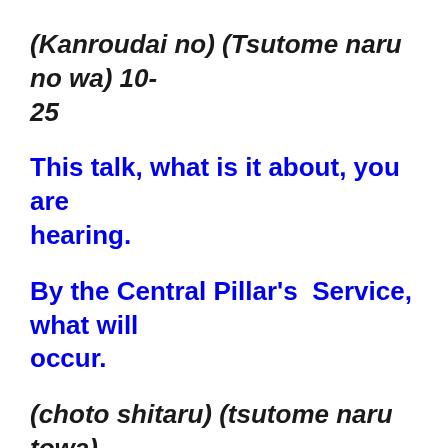(Kanroudai no) (Tsutome naru no wa) 10-25
This talk, what is it about, you are hearing.
By the Central Pillar's  Service, what will occur.
(choto shitaru) (tsutome naru towa)
(omouna yo)    *-